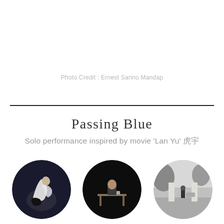Photo Credit : Ernest Sarino Mandap
Passing Blue
Solo performance inspired by movie 'Lan Yu' 蓝宇
[Figure (photo): Three circular cropped performance photos side by side: left shows a dancer in white arching backward on dark stage; center shows a performer seated at a table on dark stage; right is a black-and-white outdoor photo of a person standing in a gateway.]